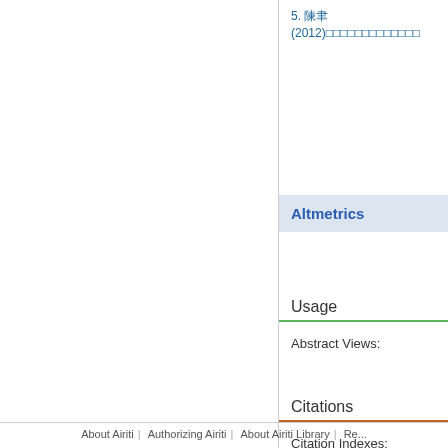5. 陳聿(2012)…
Altmetrics
Usage
Abstract Views:
Citations
Citation Indexes:
[Figure (logo): PlumX logo — circular green leaf icon followed by the word PLUMX in purple bold text]
About Airiti | Authorizing Airiti | About Airiti Library | Re...